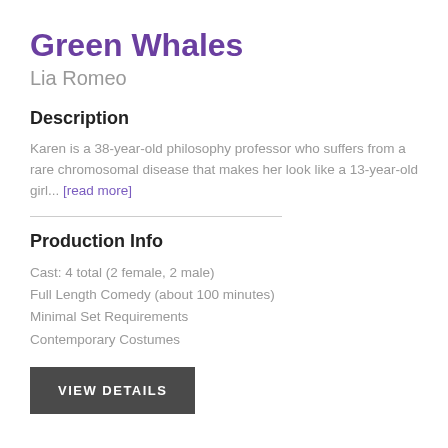Green Whales
Lia Romeo
Description
Karen is a 38-year-old philosophy professor who suffers from a rare chromosomal disease that makes her look like a 13-year-old girl... [read more]
Production Info
Cast: 4 total (2 female, 2 male)
Full Length Comedy (about 100 minutes)
Minimal Set Requirements
Contemporary Costumes
VIEW DETAILS